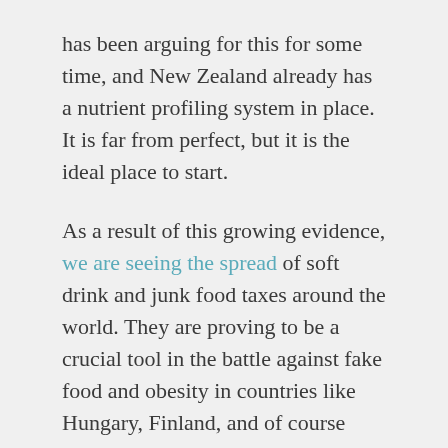has been arguing for this for some time, and New Zealand already has a nutrient profiling system in place. It is far from perfect, but it is the ideal place to start.
As a result of this growing evidence, we are seeing the spread of soft drink and junk food taxes around the world. They are proving to be a crucial tool in the battle against fake food and obesity in countries like Hungary, Finland, and of course Mexico.
What can we learn from this?
In these days of social media and a short news